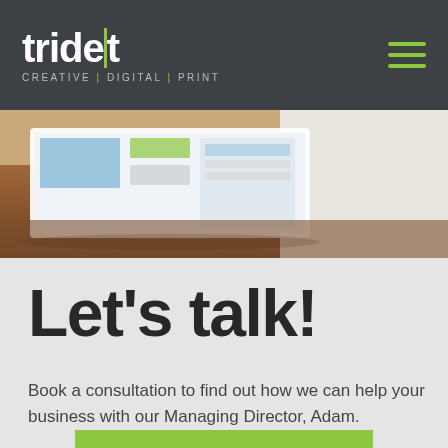trident CREATIVE | DIGITAL | PRINT
[Figure (photo): Close-up photo of a tablet/magazine on a wooden desk surface]
Let's talk!
Book a consultation to find out how we can help your business with our Managing Director, Adam.